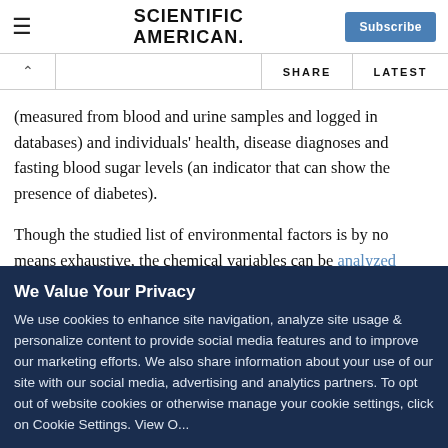Scientific American — Subscribe
(measured from blood and urine samples and logged in databases) and individuals' health, disease diagnoses and fasting blood sugar levels (an indicator that can show the presence of diabetes).
Though the studied list of environmental factors is by no means exhaustive, the chemical variables can be analyzed along the same lines as selected single-nucleotide polymorphisms (SNPs)
We Value Your Privacy
We use cookies to enhance site navigation, analyze site usage & personalize content to provide social media features and to improve our marketing efforts. We also share information about your use of our site with our social media, advertising and analytics partners. To opt out of website cookies or otherwise manage your cookie settings, click on Cookie Settings. View O...